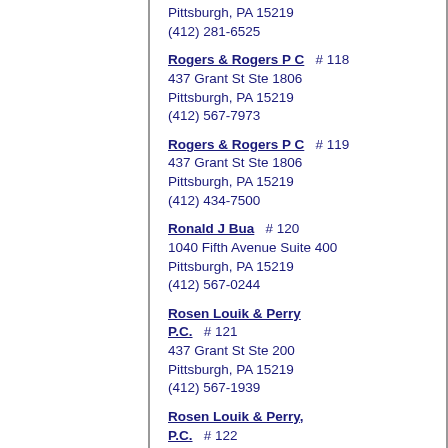Pittsburgh, PA 15219
(412) 281-6525
Rogers & Rogers P C  # 118
437 Grant St Ste 1806
Pittsburgh, PA 15219
(412) 567-7973
Rogers & Rogers P C  # 119
437 Grant St Ste 1806
Pittsburgh, PA 15219
(412) 434-7500
Ronald J Bua  # 120
1040 Fifth Avenue Suite 400
Pittsburgh, PA 15219
(412) 567-0244
Rosen Louik & Perry P.C.  # 121
437 Grant St Ste 200
Pittsburgh, PA 15219
(412) 567-1939
Rosen Louik & Perry, P.C.  # 122
437 Grant St Ste 200
Pittsburgh, PA 15219